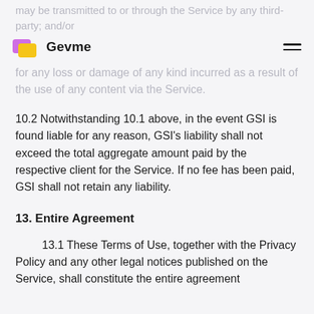may be transmitted to or through the Service by any third-party; and/or (p). Any errors or omissions in any content or for any loss or damage of any kind incurred as a result of the use of any content via the Service.
10.2 Notwithstanding 10.1 above, in the event GSI is found liable for any reason, GSI's liability shall not exceed the total aggregate amount paid by the respective client for the Service. If no fee has been paid, GSI shall not retain any liability.
13. Entire Agreement
13.1  These Terms of Use, together with the Privacy Policy and any other legal notices published on the Service, shall constitute the entire agreement